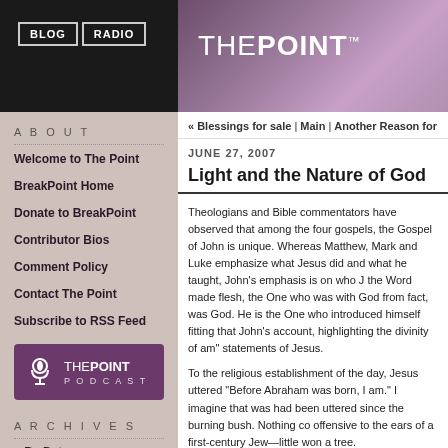BLOG | RADIO
[Figure (logo): THE POINT logo with TM superscript on purple/pink gradient background with keyboard keys]
ABOUT
Welcome to The Point
BreakPoint Home
Donate to BreakPoint
Contributor Bios
Comment Policy
Contact The Point
Subscribe to RSS Feed
[Figure (logo): THE POINT PODCAST logo with microphone icon on purple background]
ARCHIVES
+ By Date
+ By Category
List All
« Blessings for sale | Main | Another Reason for
JUNE 27, 2007
Light and the Nature of God
Theologians and Bible commentators have observed that among the four gospels, the Gospel of John is unique. Whereas Matthew, Mark and Luke emphasize what Jesus did and what he taught, John's emphasis is on who Jesus is: the Word made flesh, the One who was with God from the, in fact, was God. He is the One who introduced himself fitting that John's account, highlighting the divinity of am" statements of Jesus.
To the religious establishment of the day, Jesus uttered "Before Abraham was born, I am." I imagine that was had been uttered since the burning bush. Nothing could be offensive to the ears of a first-century Jew—little wonder a tree.
To his disciples, Jesus said that he was "the vine," and the life." And to the crowd, he announced "I am" the